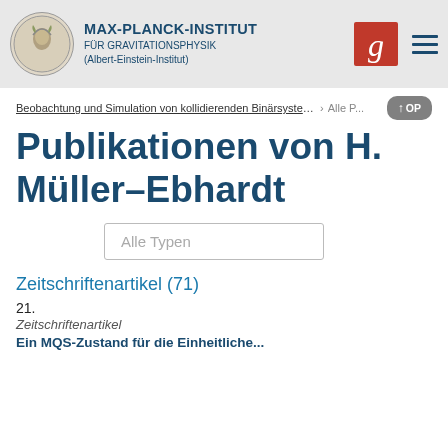MAX-PLANCK-INSTITUT FÜR GRAVITATIONSPHYSIK (Albert-Einstein-Institut)
Beobachtung und Simulation von kollidierenden Binärsystemen  >  Alle P...
Publikationen von H. Müller-Ebhardt
Alle Typen
Zeitschriftenartikel (71)
21.
Zeitschriftenartikel
Ein MQS-Zustand für die Einheitliche...